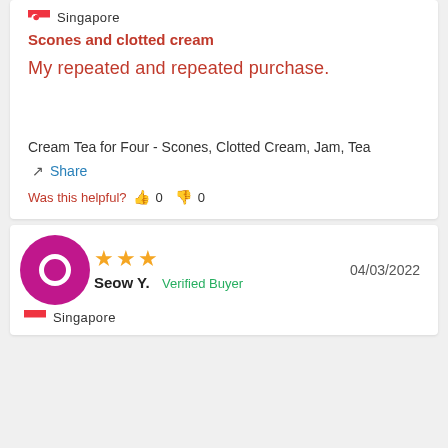Singapore
Scones and clotted cream
My repeated and repeated purchase.
Cream Tea for Four - Scones, Clotted Cream, Jam, Tea
Share
Was this helpful?  0  0
Seow Y.  Verified Buyer  04/03/2022
Singapore